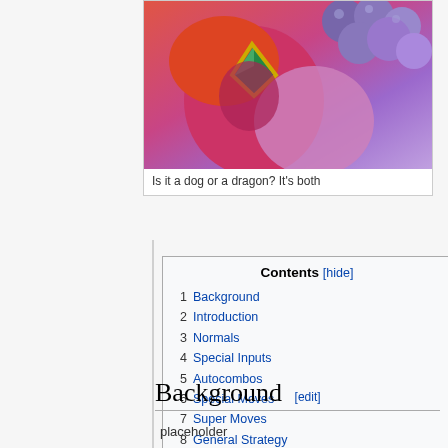[Figure (illustration): Stylized illustration of a dog-dragon hybrid character with green gemstone on chest, red and pink armor, and purple grape-like spheres in the background]
Is it a dog or a dragon? It's both
Contents [hide]
1 Background
2 Introduction
3 Normals
4 Special Inputs
5 Autocombos
6 Special Moves
7 Super Moves
8 General Strategy
9 Combos
Background [edit]
placeholder